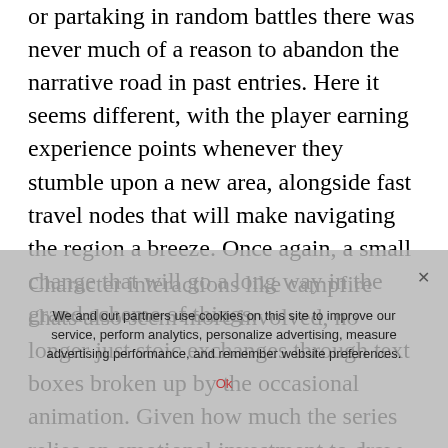or partaking in random battles there was never much of a reason to abandon the narrative road in past entries. Here it seems different, with the player earning experience points whenever they stumble upon a new area, alongside fast travel nodes that will make navigating the region a breeze. Once again, a small change that will go a long way in the grand scheme of things.
Character interactions like campfire chats also seem more involved, no longer just stoic exchanges through text boxes broken up by the occasional animation. Given how much the series relies on emotional investment to draw us in, this can only be a good thing. That and the cast looks amazing, and perhaps more cohesive than any of the previous games ensembles. We have a new Welsh cat girl so I'm happy.
We and our partners use cookies on this site to improve our service, perform analytics, personalize advertising, measure advertising performance, and remember website preferences.
Ok